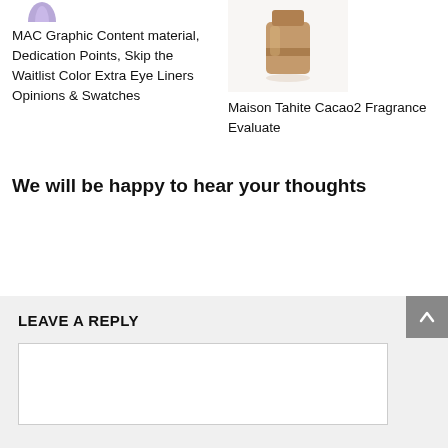[Figure (photo): Lavender/purple colored eyeliner tip visible at top of left column]
MAC Graphic Content material, Dedication Points, Skip the Waitlist Color Extra Eye Liners Opinions & Swatches
[Figure (photo): Brown/tan fragrance bottle on white background]
Maison Tahite Cacao2 Fragrance Evaluate
We will be happy to hear your thoughts
LEAVE A REPLY